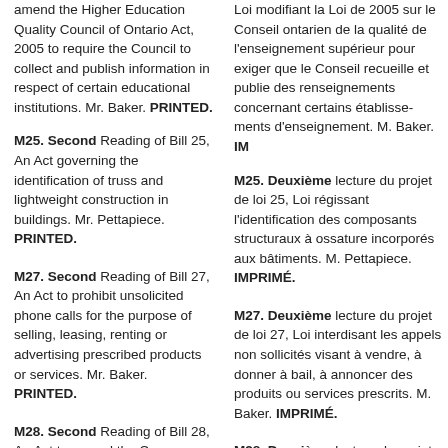amend the Higher Education Quality Council of Ontario Act, 2005 to require the Council to collect and publish information in respect of certain educational institutions. Mr. Baker. PRINTED.
Loi modifiant la Loi de 2005 sur le Conseil ontarien de la qualité de l'enseignement supérieur pour exiger que le Conseil recueille et publie des renseignements concernant certains établissements d'enseignement. M. Baker. IMPRIMÉ.
M25. Second Reading of Bill 25, An Act governing the identification of truss and lightweight construction in buildings. Mr. Pettapiece. PRINTED.
M25. Deuxième lecture du projet de loi 25, Loi régissant l'identification des composants structuraux à ossature incorporés aux bâtiments. M. Pettapiece. IMPRIMÉ.
M27. Second Reading of Bill 27, An Act to prohibit unsolicited phone calls for the purpose of selling, leasing, renting or advertising prescribed products or services. Mr. Baker. PRINTED.
M27. Deuxième lecture du projet de loi 27, Loi interdisant les appels non sollicités visant à vendre, à donner à bail, à louer ou à annoncer des produits ou services prescrits. M. Baker. IMPRIMÉ.
M28. Second Reading of Bill 28, An Act to amend the Consumer Protection Act, 2002 to require suppliers to disclose an all-inclusive cost. Mr. Baker. PRINTED.
M28. Deuxième lecture du projet de loi 28, Loi modifiant la Loi de 2002 sur la protection du consommateur pour exiger que les fournisseurs divulguent les coûts globaux. M. Baker. IMPRIMÉ.